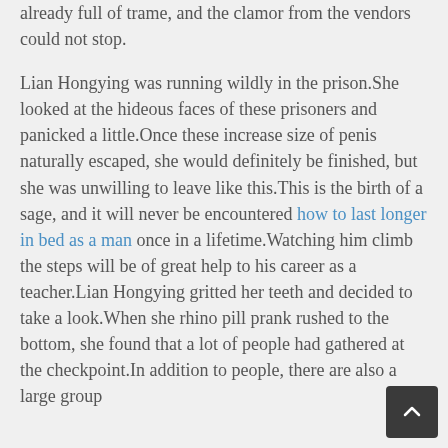already full of trame, and the clamor from the vendors could not stop.
Lian Hongying was running wildly in the prison.She looked at the hideous faces of these prisoners and panicked a little.Once these increase size of penis naturally escaped, she would definitely be finished, but she was unwilling to leave like this.This is the birth of a sage, and it will never be encountered how to last longer in bed as a man once in a lifetime.Watching him climb the steps will be of great help to his career as a teacher.Lian Hongying gritted her teeth and decided to take a look.When she rhino pill prank rushed to the bottom, she found that a lot of people had gathered at the checkpoint.In addition to people, there are also a large group